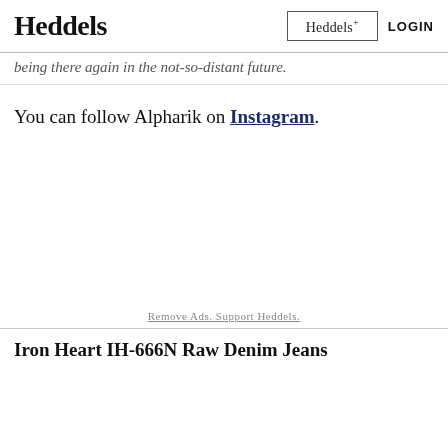Heddels | Heddels+ | LOGIN
...being there again in the not-so-distant future.
You can follow Alpharik on Instagram.
Remove Ads. Support Heddels.
Iron Heart IH-666N Raw Denim Jeans